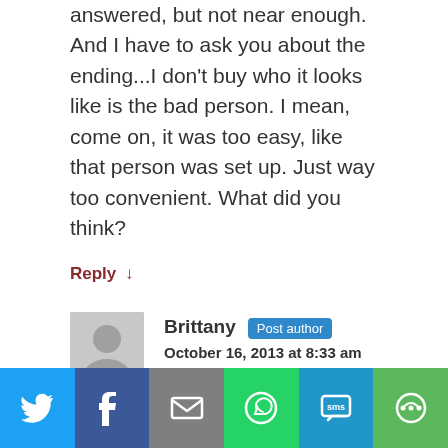answered, but not near enough. And I have to ask you about the ending...I don't buy who it looks like is the bad person. I mean, come on, it was too easy, like that person was set up. Just way too convenient. What did you think?
Reply ↓
Brittany Post author
October 16, 2013 at 8:33 am
[Figure (infographic): Social share bar with Twitter, Facebook, Email, WhatsApp, SMS, and other sharing icons]